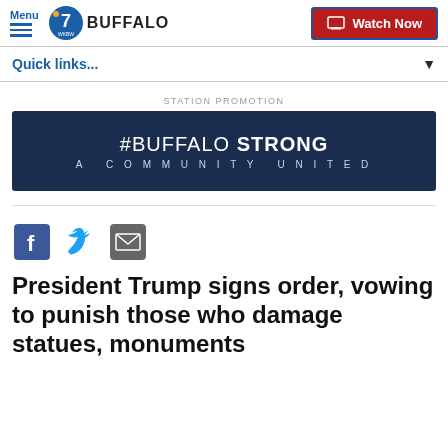Menu | 7 WKBW BUFFALO | Watch Now
Quick links...
STATION PROMOTION
[Figure (infographic): #BUFFALO STRONG - A COMMUNITY UNITED promotional banner with dark blue background]
[Figure (infographic): Social share icons: Facebook, Twitter, Email]
President Trump signs order, vowing to punish those who damage statues, monuments